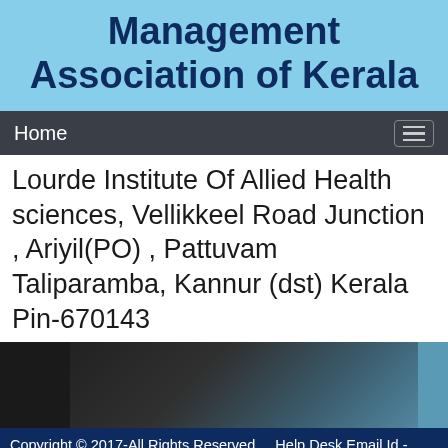Management Association of Kerala
Home
Lourde Institute Of Allied Health sciences, Vellikkeel Road Junction , Ariyil(PO) , Pattuvam Taliparamba, Kannur (dst) Kerala Pin-670143
[Figure (photo): Partial view of a building or interior, dark tones with blue accent visible on the right edge]
Copyright © 2017-All Rights Reserved.    Help Desk Email Id - help@spcma.in    Help Desk No - 7902201333